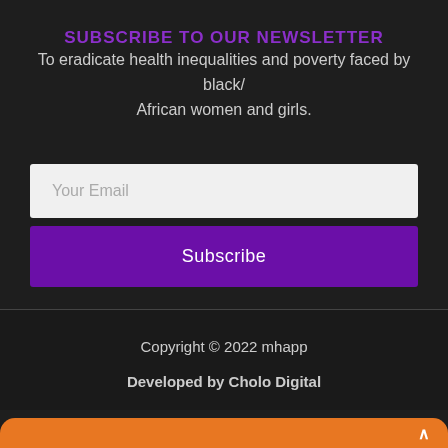SUBSCRIBE TO OUR NEWSLETTER
To eradicate health inequalities and poverty faced by black/African women and girls.
Your Email
Subscribe
Copyright © 2022 mhapp
Developed by Cholo Digital